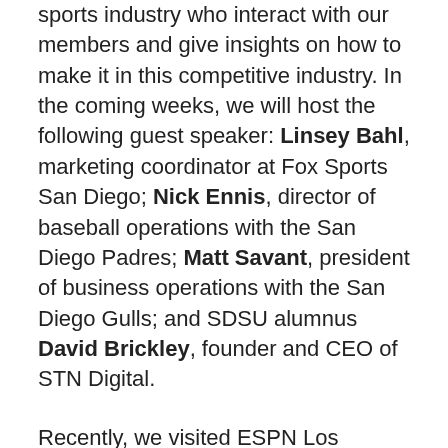sports industry who interact with our members and give insights on how to make it in this competitive industry. In the coming weeks, we will host the following guest speaker: Linsey Bahl, marketing coordinator at Fox Sports San Diego; Nick Ennis, director of baseball operations with the San Diego Padres; Matt Savant, president of business operations with the San Diego Gulls; and SDSU alumnus David Brickley, founder and CEO of STN Digital.
Recently, we visited ESPN Los Angeles, SKLZ Headquarters, the Olympic Training Center in Chula Vista, and Petco Park. Every year, we organize the Sports Business Summit, which is a networking event for both students and community members to listen to panels and keynote speakers. The proceeds from the drawing go to the Challenged Athletes Foundation, a non-profit organization that provides support to people with physical